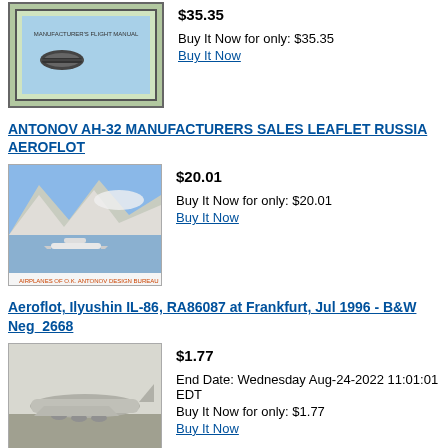[Figure (photo): Framed aviation stamp or leaflet showing aircraft, green border]
$35.35
Buy It Now for only: $35.35
Buy It Now
ANTONOV AH-32 MANUFACTURERS SALES LEAFLET RUSSIA AEROFLOT
[Figure (photo): Aircraft flying over mountainous terrain with clouds, Antonov Design Bureau branding at bottom]
$20.01
Buy It Now for only: $20.01
Buy It Now
Aeroflot, Ilyushin IL-86, RA86087 at Frankfurt, Jul 1996 - B&W Neg_2668
[Figure (photo): Black and white photo of Aeroflot Ilyushin IL-86 aircraft on tarmac]
$1.77
End Date: Wednesday Aug-24-2022 11:01:01 EDT
Buy It Now for only: $1.77
Buy It Now
AVIAEXPORT MIL MI-8 HELICOPTER MANUFACTURERS SALES BROCHURE RUSSIA AEROFLOT